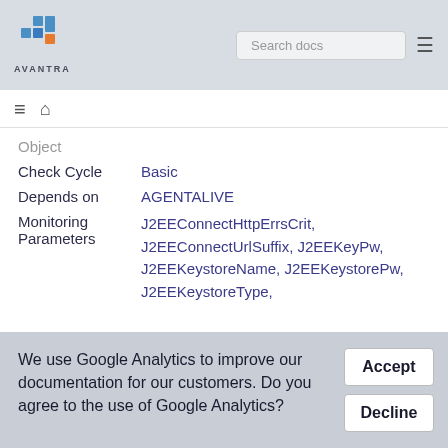AVANTRA — Search docs
Object
|  |  |
| --- | --- |
| Check Cycle | Basic |
| Depends on | AGENTALIVE |
| Monitoring Parameters | J2EEConnectHttpErrsCrit, J2EEConnectUrlSuffix, J2EEKeyPw, J2EEKeystoreName, J2EEKeystorePw, J2EEKeystoreType, |
We use Google Analytics to improve our documentation for our customers. Do you agree to the use of Google Analytics?